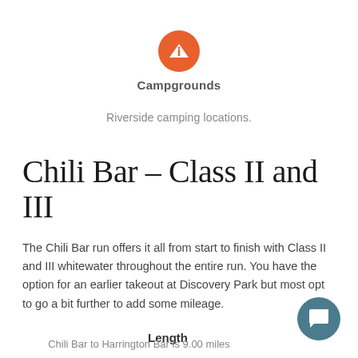[Figure (logo): Orange circle with white tent/triangle icon labeled Campgrounds]
Campgrounds
Riverside camping locations.
Chili Bar – Class II and III
The Chili Bar run offers it all from start to finish with Class II and III whitewater throughout the entire run. You have the option for an earlier takeout at Discovery Park but most opt to go a bit further to add some mileage.
Length
[Figure (other): Dark teal circular chat/comment button icon in bottom right]
Chili Bar to Harrington Bar is 9.00 miles